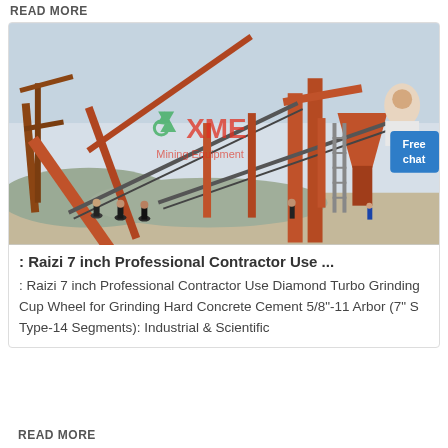READ MORE
[Figure (photo): Industrial mining/crushing equipment facility with conveyor belts and orange metal structures, workers visible in foreground, XME Mining Equipment watermark overlay, Free chat button in upper right]
: Raizi 7 inch Professional Contractor Use ...
: Raizi 7 inch Professional Contractor Use Diamond Turbo Grinding Cup Wheel for Grinding Hard Concrete Cement 5/8"-11 Arbor (7" S Type-14 Segments): Industrial & Scientific
READ MORE